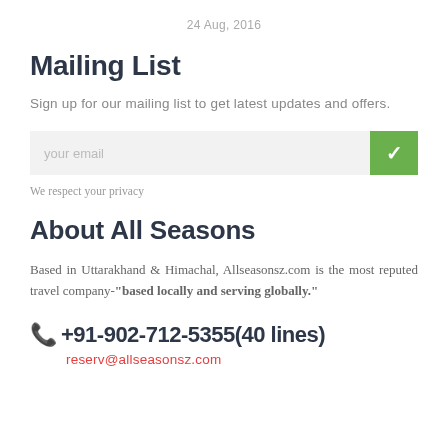24 Aug, 2016
Mailing List
Sign up for our mailing list to get latest updates and offers.
your email
We respect your privacy
About All Seasons
Based in Uttarakhand & Himachal, Allseasonsz.com is the most reputed travel company-"based locally and serving globally."
+91-902-712-5355(40 lines)
reserv@allseasonsz.com